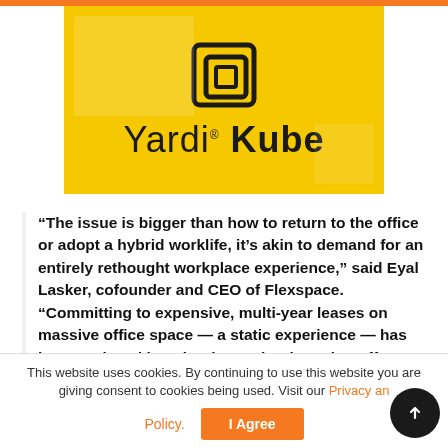[Figure (logo): Yardi Kube logo on yellow/golden background with stylized square icon above the text 'Yardi Kube']
“The issue is bigger than how to return to the office or adopt a hybrid worklife, it’s akin to demand for an entirely rethought workplace experience,” said Eyal Lasker, cofounder and CEO of Flexspace. “Committing to expensive, multi-year leases on massive office space — a static experience — has been replaced by adopting technology that offers dynamic, on-demand access to a wider variety of spaces and locations.”
Lasker adds that current resources and infrastructures
This website uses cookies. By continuing to use this website you are giving consent to cookies being used. Visit our Privacy and Cookie Policy.
I Agree